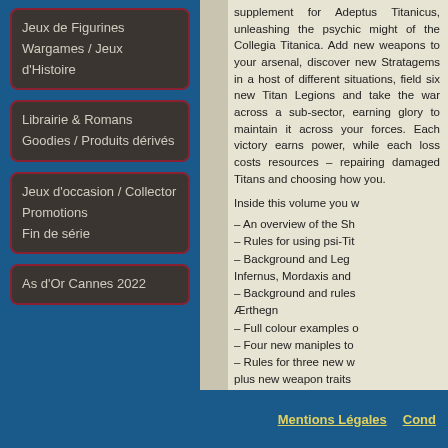Jeux de Figurines
Wargames / Jeux d'Histoire
Librairie & Romans
Goodies / Produits dérivés
Jeux d'occasion / Collector
Promotions
Fin de série
As d'Or Cannes 2022
supplement for Adeptus Titanicus, unleashing the psychic might of the Collegia Titanica. Add new weapons to your arsenal, discover new Stratagems in a host of different situations, field six new Titan Legions and take the war across a sub-sector, earning glory to maintain it across your forces. Each victory earns power, while each loss costs resources – repairing damaged Titans and choosing how you.
Inside this volume you w
– An overview of the Sh
– Rules for using psi-Tit
– Background and Leg
Infernus, Mordaxis and
– Background and rules
Ærthegn
– Full colour examples o
– Four new maniples to
– Rules for three new w
plus new weapon traits
– 18 new Stratagems
– Five narrative mission
– Extensive rules for org
– Guidelines for map ca
– How to build and mai
– Rules for hostile batt
Mentions Légales   Cond